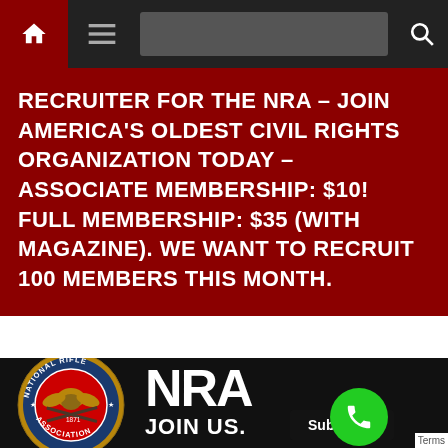Navigation bar with home, menu, and search icons
RECRUITER FOR THE NRA – JOIN AMERICA'S OLDEST CIVIL RIGHTS ORGANIZATION TODAY – ASSOCIATE MEMBERSHIP: $10! FULL MEMBERSHIP: $35 (WITH MAGAZINE). WE WANT TO RECRUIT 100 MEMBERS THIS MONTH.
[Figure (logo): NRA Join Us banner image with National Rifle Association circular logo on black background and 'NRA JOIN US.' text in white]
Subscribe
Terms